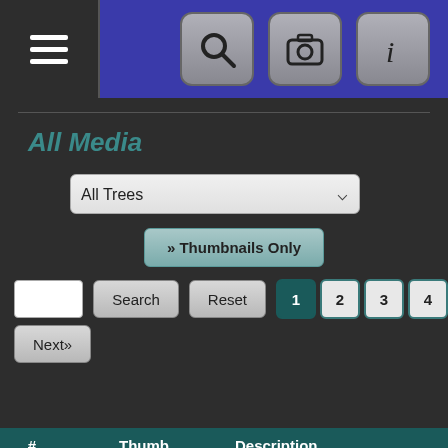[Figure (screenshot): Navigation bar with hamburger menu on left, dark background, and three icon buttons (search/magnifier, camera, info) on right with gray rounded square backgrounds on blue bar]
All Media
All Trees (dropdown)
» Thumbnails Only
Search | Reset | 1 | 2 | 3 | 4 | Next»
| # | Thumb | Description |
| --- | --- | --- |
| 1 | [silhouette image] |  |